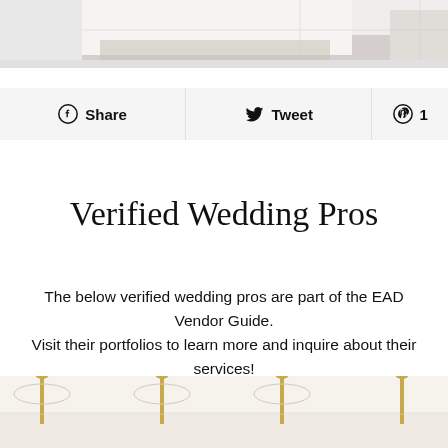[Figure (photo): Partial view of a wedding dress with sparkly skirt detail on a tile floor]
Share  Tweet  1
Verified Wedding Pros
The below verified wedding pros are part of the EAD Vendor Guide.
Visit their portfolios to learn more and inquire about their services!
[Figure (photo): Bottom partial view of a wedding reception table setting with gold candle holders and white decor]